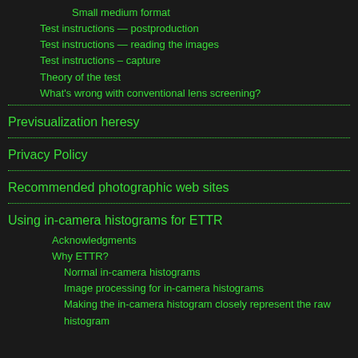Small medium format
Test instructions — postproduction
Test instructions — reading the images
Test instructions – capture
Theory of the test
What's wrong with conventional lens screening?
Previsualization heresy
Privacy Policy
Recommended photographic web sites
Using in-camera histograms for ETTR
Acknowledgments
Why ETTR?
Normal in-camera histograms
Image processing for in-camera histograms
Making the in-camera histogram closely represent the raw histogram